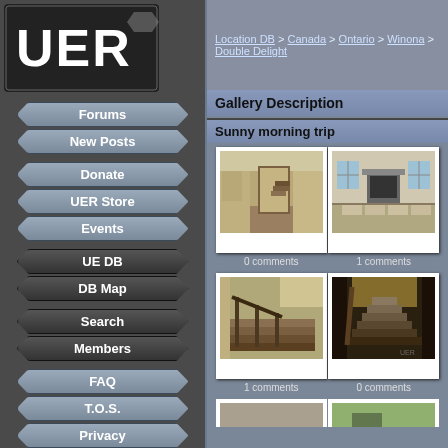[Figure (logo): UER logo - white text on dark background with hexagonal styling]
Location DB > Canada > Ontario > Winona > Double Delight
Forums
New Posts
Donate
UER Store
Events
UE DB
DB Map
Search
Members
FAQ
T.O.S.
Privacy
Register
Login
Gallery Description
Sunny morning trip
[Figure (photo): Interior hallway of abandoned house with staircase visible]
0 comments
[Figure (photo): Interior room of abandoned house with fireplace and windows]
1 comments
[Figure (photo): Deteriorated staircase looking down in abandoned house]
1 comments
[Figure (photo): Dark staircase going up in abandoned house with light from above]
0 comments
[Figure (photo): Partial view of another photo - bottom row]
[Figure (photo): Partial view of another photo - bottom row, exterior with trees]